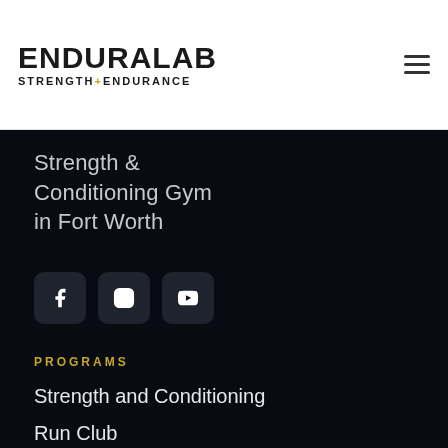ENDURALAB STRENGTH+ENDURANCE
Strength & Conditioning Gym in Fort Worth
[Figure (other): Social media icon buttons for Facebook, Instagram, and YouTube on dark rounded square backgrounds]
PROGRAMS
Strength and Conditioning
Run Club